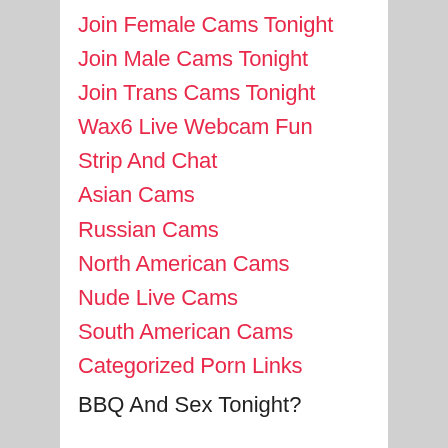Join Female Cams Tonight
Join Male Cams Tonight
Join Trans Cams Tonight
Wax6 Live Webcam Fun
Strip And Chat
Asian Cams
Russian Cams
North American Cams
Nude Live Cams
South American Cams
Categorized Porn Links
Live Chat Access
BBQ And Sex Tonight?